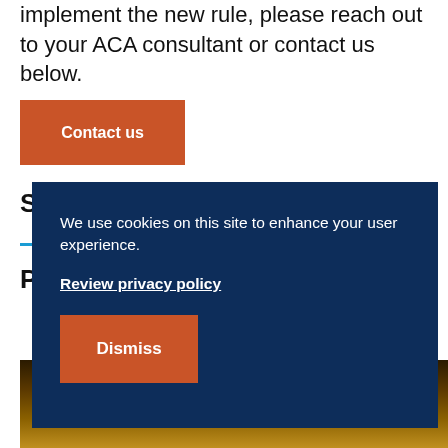implement the new rule, please reach out to your ACA consultant or contact us below.
[Figure (other): Orange 'Contact us' button]
S
—
P
[Figure (photo): Night cityscape photo strip at bottom]
We use cookies on this site to enhance your user experience.
Review privacy policy
[Figure (other): Orange 'Dismiss' button]